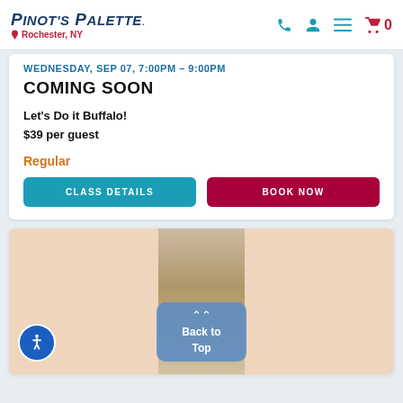Pinot's Palette — Rochester, NY
WEDNESDAY, SEP 07, 7:00PM - 9:00PM
COMING SOON
Let's Do it Buffalo!
$39 per guest
Regular
CLASS DETAILS  BOOK NOW
[Figure (photo): Painting artwork image partially visible, with a 'Back to Top' overlay button]